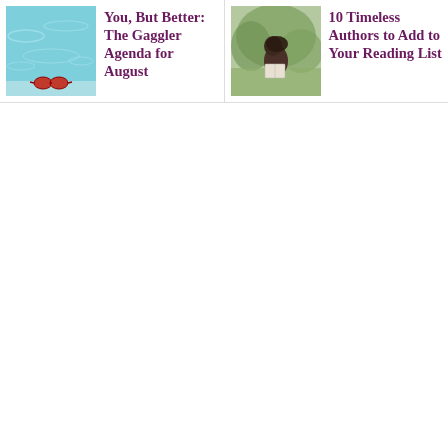[Figure (photo): Thumbnail photo of a swimming pool with blue water and red sunglasses resting on the edge]
You, But Better: The Gaggler Agenda for August
[Figure (photo): Thumbnail photo of a person reading a book outdoors surrounded by greenery]
10 Timeless Authors to Add to Your Reading List